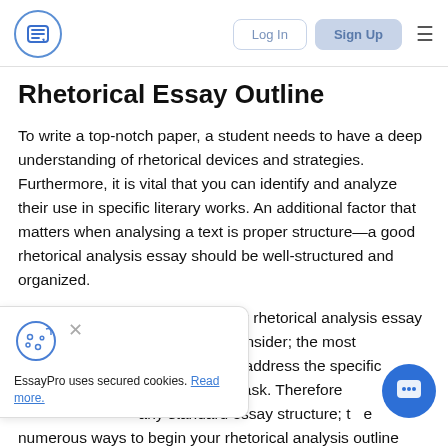Log In | Sign Up
Rhetorical Essay Outline
To write a top-notch paper, a student needs to have a deep understanding of rhetorical devices and strategies. Furthermore, it is vital that you can identify and analyze their use in specific literary works. An additional factor that matters when analysing a text is proper structure—a good rhetorical analysis essay should be well-structured and organized.
Keep in mind that organizing your rhetorical analysis essay rtant thing to consider; the most make sure you address the specific rticular writing task. Therefore any standard essay structure; t e numerous ways to begin your rhetorical analysis outline